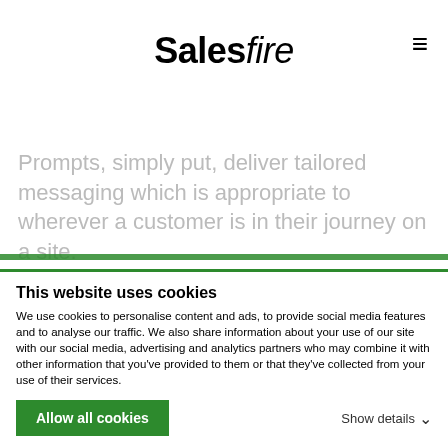Salesfire
Prompts, simply put, deliver tailored messaging which is appropriate to wherever a customer is in their journey on a site.
They can be customised to appear on any page, whether that be the homepage, the checkout page, or a landing page for a specific product.
This website uses cookies
We use cookies to personalise content and ads, to provide social media features and to analyse our traffic. We also share information about your use of our site with our social media, advertising and analytics partners who may combine it with other information that you've provided to them or that they've collected from your use of their services.
Allow all cookies
Show details